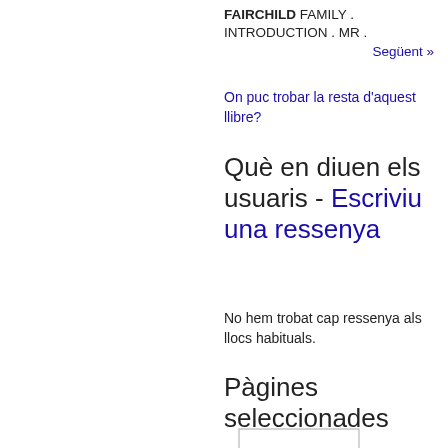FAIRCHILD FAMILY . INTRODUCTION . MR .
Següent »
On puc trobar la resta d'aquest llibre?
Què en diuen els usuaris - Escriviu una ressenya
No hem trobat cap ressenya als llocs habituals.
Pàgines seleccionades
[Figure (illustration): Thumbnail of a book page showing contents]